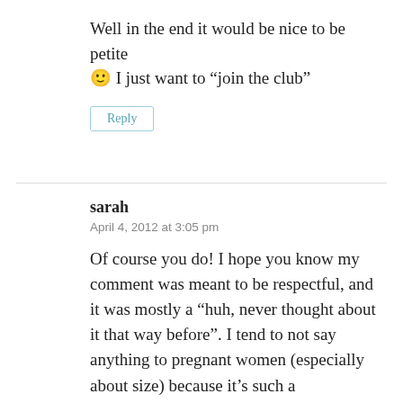Well in the end it would be nice to be petite 🙂 I just want to “join the club”
Reply
sarah
April 4, 2012 at 3:05 pm
Of course you do! I hope you know my comment was meant to be respectful, and it was mostly a “huh, never thought about it that way before”. I tend to not say anything to pregnant women (especially about size) because it’s such a personal/intimate thing. But, it’s really nice of you to open up this